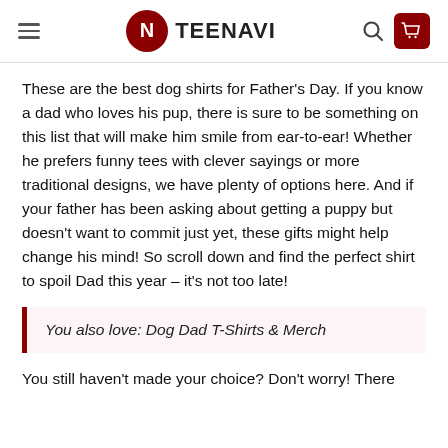TEENAVI
These are the best dog shirts for Father's Day. If you know a dad who loves his pup, there is sure to be something on this list that will make him smile from ear-to-ear! Whether he prefers funny tees with clever sayings or more traditional designs, we have plenty of options here. And if your father has been asking about getting a puppy but doesn't want to commit just yet, these gifts might help change his mind! So scroll down and find the perfect shirt to spoil Dad this year – it's not too late!
You also love: Dog Dad T-Shirts & Merch
You still haven't made your choice? Don't worry! There